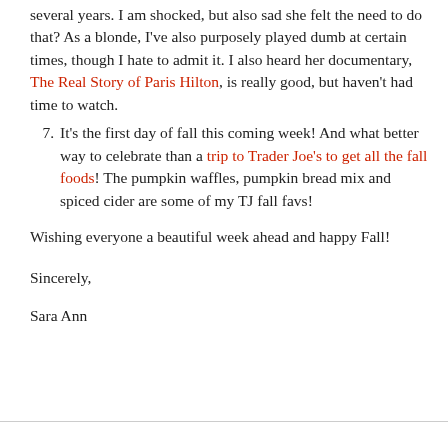several years. I am shocked, but also sad she felt the need to do that? As a blonde, I've also purposely played dumb at certain times, though I hate to admit it. I also heard her documentary, The Real Story of Paris Hilton, is really good, but haven't had time to watch.
7. It's the first day of fall this coming week! And what better way to celebrate than a trip to Trader Joe's to get all the fall foods! The pumpkin waffles, pumpkin bread mix and spiced cider are some of my TJ fall favs!
Wishing everyone a beautiful week ahead and happy Fall!
Sincerely,
Sara Ann